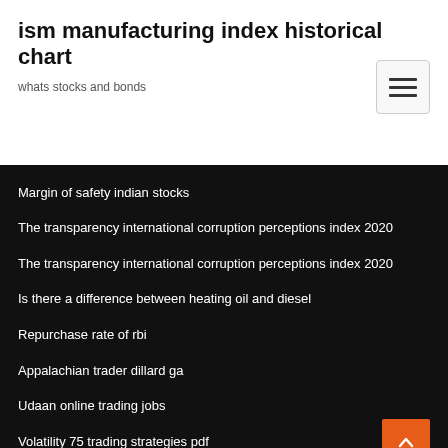ism manufacturing index historical chart
whats stocks and bonds
Margin of safety indian stocks
The transparency international corruption perceptions index 2020
The transparency international corruption perceptions index 2020
Is there a difference between heating oil and diesel
Repurchase rate of rbi
Appalachian trader dillard ga
Udaan online trading jobs
Volatility 75 trading strategies pdf